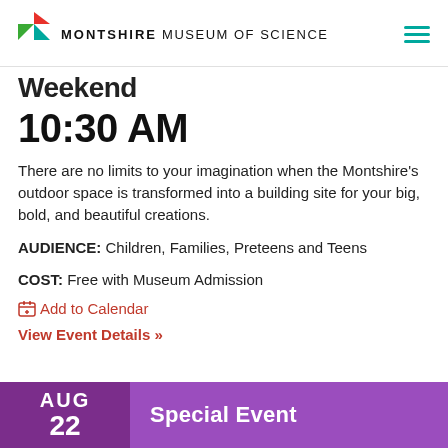MONTSHIRE MUSEUM OF SCIENCE
Weekend
10:30 AM
There are no limits to your imagination when the Montshire's outdoor space is transformed into a building site for your big, bold, and beautiful creations.
AUDIENCE: Children, Families, Preteens and Teens
COST: Free with Museum Admission
Add to Calendar
View Event Details »
AUG  Special Event